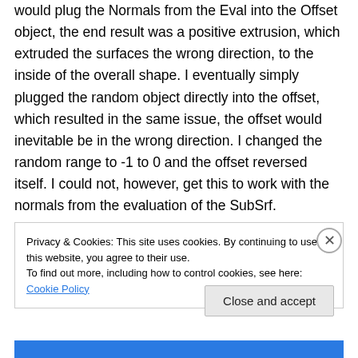would plug the Normals from the Eval into the Offset object, the end result was a positive extrusion, which extruded the surfaces the wrong direction, to the inside of the overall shape. I eventually simply plugged the random object directly into the offset, which resulted in the same issue, the offset would inevitable be in the wrong direction. I changed the random range to -1 to 0 and the offset reversed itself. I could not, however, get this to work with the normals from the evaluation of the SubSrf.
Privacy & Cookies: This site uses cookies. By continuing to use this website, you agree to their use.
To find out more, including how to control cookies, see here: Cookie Policy
Close and accept